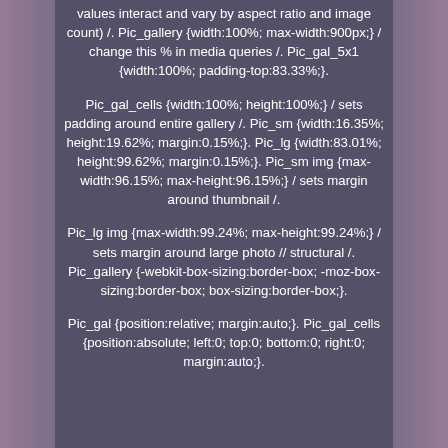values interact and vary by aspect ratio and image count) /. Pic_gallery {width:100%; max-width:900px;} / change this % in media queries /. Pic_gal_5x1 {width:100%; padding-top:83.33%;}.
Pic_gal_cells {width:100%; height:100%;} / sets padding around entire gallery /. Pic_sm {width:16.35%; height:19.62%; margin:0.15%;}. Pic_lg {width:83.01%; height:99.62%; margin:0.15%;}. Pic_sm img {max-width:96.15%; max-height:96.15%;} / sets margin around thumbnail /.
Pic_lg img {max-width:99.24%; max-height:99.24%;} / sets margin around large photo // structural /. Pic_gallery {-webkit-box-sizing:border-box; -moz-box-sizing:border-box; box-sizing:border-box;}.
Pic_gal {position:relative; margin:auto;}. Pic_gal_cells {position:absolute; left:0; top:0; bottom:0; right:0; margin:auto;}.